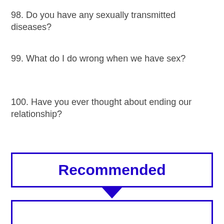98. Do you have any sexually transmitted diseases?
99. What do I do wrong when we have sex?
100. Have you ever thought about ending our relationship?
Recommended